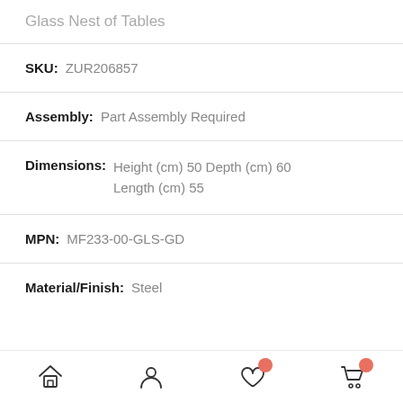Glass Nest of Tables
SKU: ZUR206857
Assembly: Part Assembly Required
Dimensions: Height (cm) 50 Depth (cm) 60 Length (cm) 55
MPN: MF233-00-GLS-GD
Material/Finish: Steel